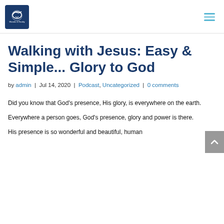[Figure (logo): Wonder & Reality website logo — dark blue square with white dove/wave icon and text 'Wonder & Reality' below]
Wonder & Reality website header with logo on left and hamburger menu icon on right
Walking with Jesus: Easy & Simple... Glory to God
by admin | Jul 14, 2020 | Podcast, Uncategorized | 0 comments
Did you know that God's presence, His glory, is everywhere on the earth.
Everywhere a person goes, God's presence, glory and power is there.
His presence is so wonderful and beautiful, human